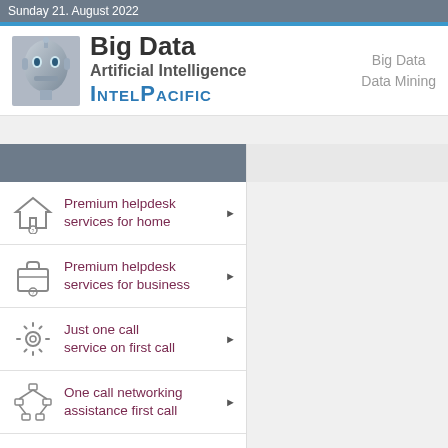Sunday 21. August 2022
Big Data Artificial Intelligence INTELPACIFIC
Big Data
Data Mining
Premium helpdesk services for home
Premium helpdesk services for business
Just one call service on first call
One call networking assistance first call